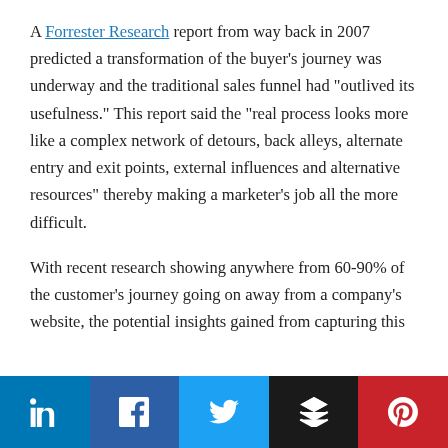A Forrester Research report from way back in 2007 predicted a transformation of the buyer's journey was underway and the traditional sales funnel had “outlived its usefulness.” This report said the “real process looks more like a complex network of detours, back alleys, alternate entry and exit points, external influences and alternative resources” thereby making a marketer’s job all the more difficult.
With recent research showing anywhere from 60-90% of the customer’s journey going on away from a company’s website, the potential insights gained from capturing this